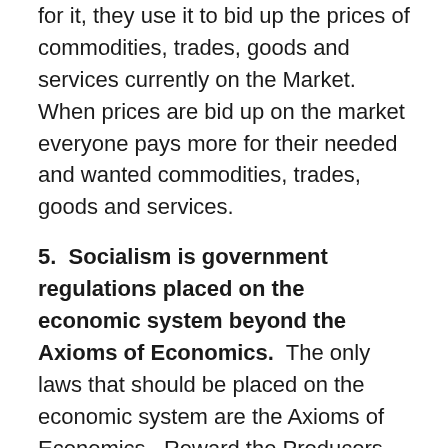for it, they use it to bid up the prices of commodities, trades, goods and services currently on the Market.  When prices are bid up on the market everyone pays more for their needed and wanted commodities, trades, goods and services.
5.  Socialism is government regulations placed on the economic system beyond the Axioms of Economics.  The only laws that should be placed on the economic system are the Axioms of Economics.  Reward the Producers and only the Producers, maintain the Market as an Open Market (open to all on equal terms) and maintain a Constant Money Supply are the basic laws of Economics.   Any regulations, placed on the economic system outside of the Axioms of Economics, tend to penalize the